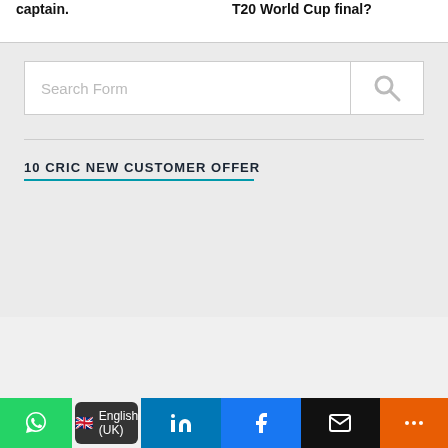captain.
T20 World Cup final?
[Figure (other): Search form input field with placeholder text 'Search Form' and a search icon button on the right]
10 CRIC NEW CUSTOMER OFFER
WhatsApp | English (UK) | LinkedIn | Facebook | Email | More